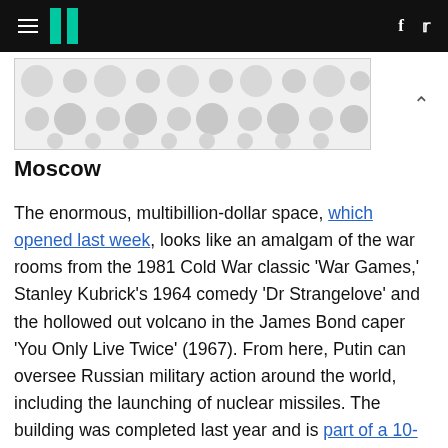HuffPost navigation with hamburger menu, logo, Facebook and Twitter icons
[Figure (illustration): Advertisement banner with decorative grey circle/dot pattern on light grey background]
Moscow
The enormous, multibillion-dollar space, which opened last week, looks like an amalgam of the war rooms from the 1981 Cold War classic 'War Games,' Stanley Kubrick's 1964 comedy 'Dr Strangelove' and the hollowed out volcano in the James Bond caper 'You Only Live Twice' (1967). From here, Putin can oversee Russian military action around the world, including the launching of nuclear missiles. The building was completed last year and is part of a 10-year plan to modernise the entire Russian military